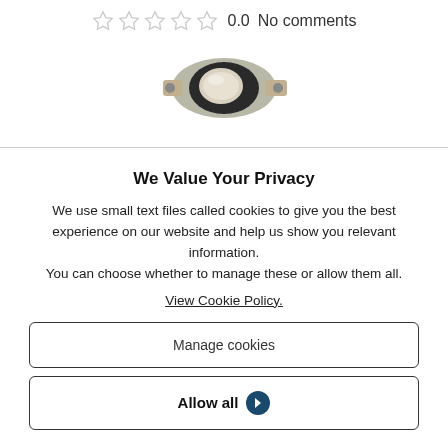0.0  No comments
[Figure (photo): Photo of a thermostat or thermal cutoff component — a small metallic disc-shaped device with mounting tabs]
We Value Your Privacy
We use small text files called cookies to give you the best experience on our website and help us show you relevant information.
You can choose whether to manage these or allow them all.
View Cookie Policy.
Manage cookies
Allow all